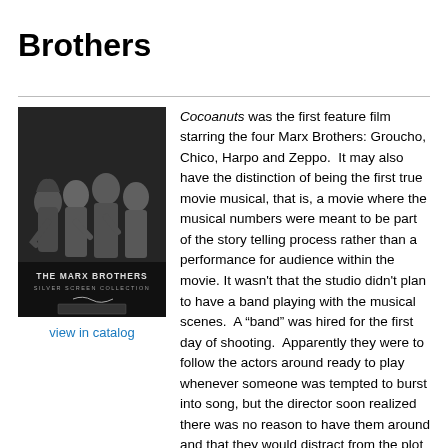Brothers
[Figure (photo): Black and white movie poster for 'The Marx Brothers Silver Screen Collection' showing four men posing together]
view in catalog
Cocoanuts was the first feature film starring the four Marx Brothers: Groucho, Chico, Harpo and Zeppo. It may also have the distinction of being the first true movie musical, that is, a movie where the musical numbers were meant to be part of the story telling process rather than a performance for audience within the movie. It wasn't that the studio didn't plan to have a band playing with the musical scenes. A "band" was hired for the first day of shooting. Apparently they were to follow the actors around ready to play whenever someone was tempted to burst into song, but the director soon realized there was no reason to have them around and that they would distract from the plot of the movie; something that the Marx Brothers were already managing to do pretty well on their own.